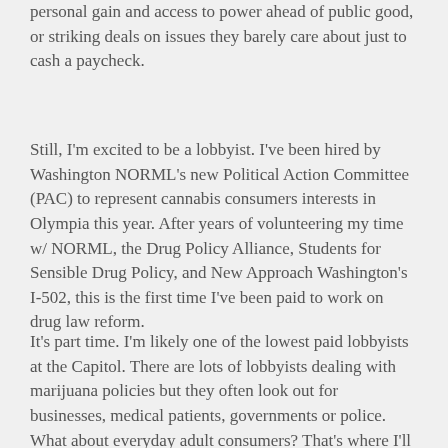There are enough examples of lobbyists putting personal gain and access to power ahead of public good, or striking deals on issues they barely care about just to cash a paycheck.
Still, I'm excited to be a lobbyist. I've been hired by Washington NORML's new Political Action Committee (PAC) to represent cannabis consumers interests in Olympia this year. After years of volunteering my time w/ NORML, the Drug Policy Alliance, Students for Sensible Drug Policy, and New Approach Washington's I-502, this is the first time I've been paid to work on drug law reform.
It's part time. I'm likely one of the lowest paid lobbyists at the Capitol. There are lots of lobbyists dealing with marijuana policies but they often look out for businesses, medical patients, governments or police. What about everyday adult consumers? That's where I'll come in.